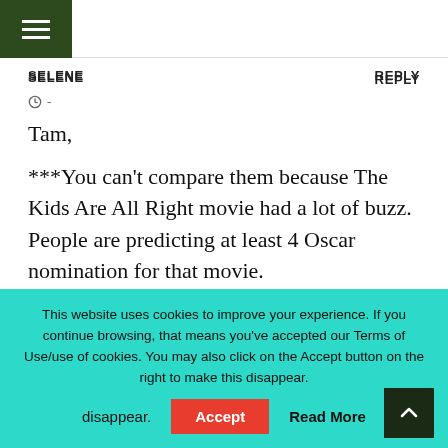SELENE | REPLY
Tam,
***You can't compare them because The Kids Are All Right movie had a lot of buzz. People are predicting at least 4 Oscar nomination for that movie.
The critics also loved it and gave 96/100.
This website uses cookies to improve your experience. If you continue browsing, that means you've accepted our Terms of Use/use of cookies. You may also click on the Accept button on the right to make this disappear.